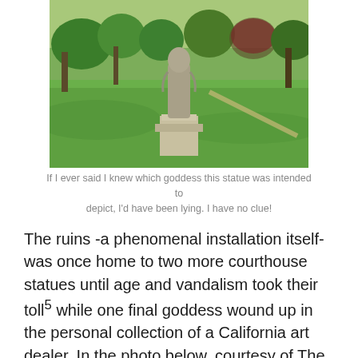[Figure (photo): A stone statue of a goddess or figure on a rectangular pedestal, standing in a green grassy park with trees in the background.]
If I ever said I knew which goddess this statue was intended to depict, I'd have been lying. I have no clue!
The ruins -a phenomenal installation itself- was once home to two more courthouse statues until age and vandalism took their toll5 while one final goddess wound up in the personal collection of a California art dealer. In the photo below, courtesy of The Indiana Album's Nancy (Hendricks) VanArendonk collection, you can see six of the eight standing in front of the old courthouse after being removed